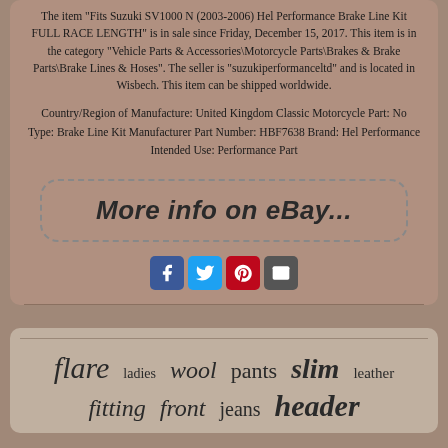The item "Fits Suzuki SV1000 N (2003-2006) Hel Performance Brake Line Kit FULL RACE LENGTH" is in sale since Friday, December 15, 2017. This item is in the category "Vehicle Parts & Accessories\Motorcycle Parts\Brakes & Brake Parts\Brake Lines & Hoses". The seller is "suzukiperformanceltd" and is located in Wisbech. This item can be shipped worldwide.
Country/Region of Manufacture: United Kingdom Classic Motorcycle Part: No Type: Brake Line Kit Manufacturer Part Number: HBF7638 Brand: Hel Performance Intended Use: Performance Part
[Figure (other): eBay listing button with dashed border and italic handwritten-style text reading 'More info on eBay...']
[Figure (other): Social media share icons: Facebook (blue), Twitter (blue), Pinterest (red), Email (grey)]
flare   ladies   wool   pants   slim   leather
fitting   front   jeans   header